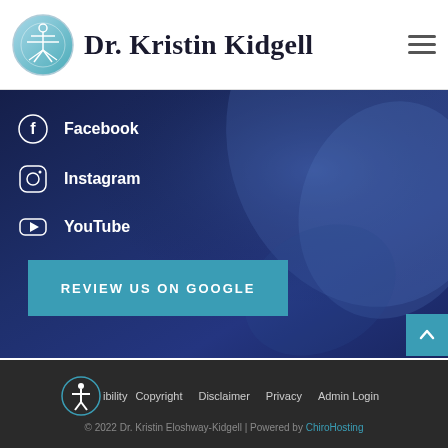Dr. Kristin Kidgell
Facebook
Instagram
YouTube
[Figure (other): Dark blue background with abstract shapes - chiropractic website hero section]
REVIEW US ON GOOGLE
Accessibility | Copyright | Disclaimer | Privacy | Admin Login | © 2022 Dr. Kristin Eloshway-Kidgell | Powered by ChiroHosting